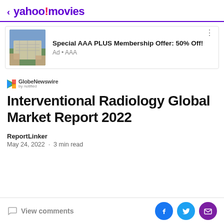< yahoo!movies
[Figure (screenshot): Advertisement banner: AAA Plus Membership Offer with a thumbnail image of someone reading a map, text 'Special AAA PLUS Membership Offer: 50% Off!' and 'Ad • AAA']
[Figure (logo): GlobeNewswire by notified logo]
Interventional Radiology Global Market Report 2022
ReportLinker
May 24, 2022 · 3 min read
View comments